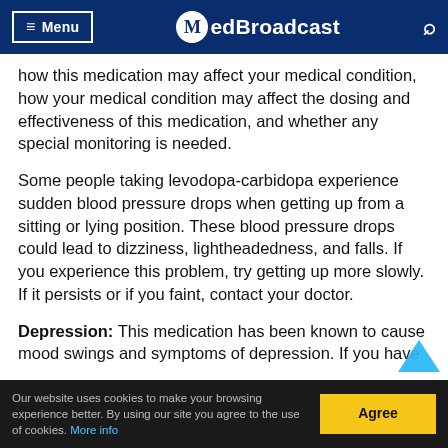Menu | MedBroadcast
how this medication may affect your medical condition, how your medical condition may affect the dosing and effectiveness of this medication, and whether any special monitoring is needed.
Some people taking levodopa-carbidopa experience sudden blood pressure drops when getting up from a sitting or lying position. These blood pressure drops could lead to dizziness, lightheadedness, and falls. If you experience this problem, try getting up more slowly. If it persists or if you faint, contact your doctor.
Depression: This medication has been known to cause mood swings and symptoms of depression. If you ha...
Our website uses cookies to make your browsing experience better. By using our site you agree to the use of cookies. More info | Agree